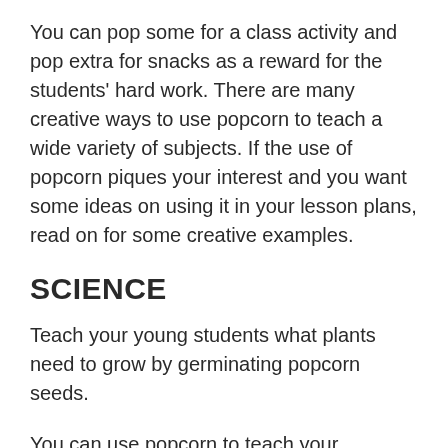You can pop some for a class activity and pop extra for snacks as a reward for the students' hard work. There are many creative ways to use popcorn to teach a wide variety of subjects. If the use of popcorn piques your interest and you want some ideas on using it in your lesson plans, read on for some creative examples.
SCIENCE
Teach your young students what plants need to grow by germinating popcorn seeds.
You can use popcorn to teach your students